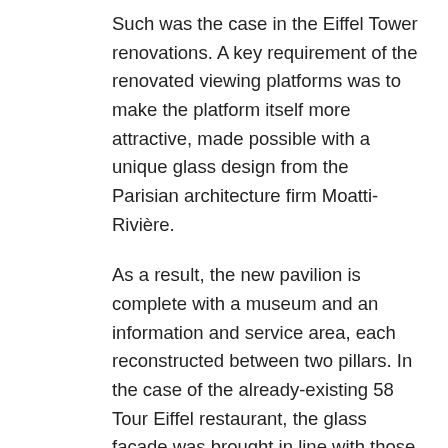Such was the case in the Eiffel Tower renovations. A key requirement of the renovated viewing platforms was to make the platform itself more attractive, made possible with a unique glass design from the Parisian architecture firm Moatti-Rivière.
As a result, the new pavilion is complete with a museum and an information and service area, each reconstructed between two pillars. In the case of the already-existing 58 Tour Eiffel restaurant, the glass façade was brought in line with those present in the other two pavilions: glass surfaces facing inside and outside, a 1,400-square-foot glass floor which opens up a view of the Champ-de-Mars below and an 8-foot-high surrounding glass balustrade. The dramatic resulting view delights visitors with transparency in every direction, enabled by double-